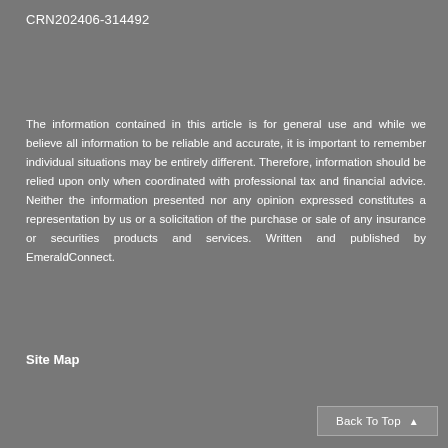CRN202406-314492
The information contained in this article is for general use and while we believe all information to be reliable and accurate, it is important to remember individual situations may be entirely different. Therefore, information should be relied upon only when coordinated with professional tax and financial advice. Neither the information presented nor any opinion expressed constitutes a representation by us or a solicitation of the purchase or sale of any insurance or securities products and services. Written and published by EmeraldConnect.
Site Map
Back To Top